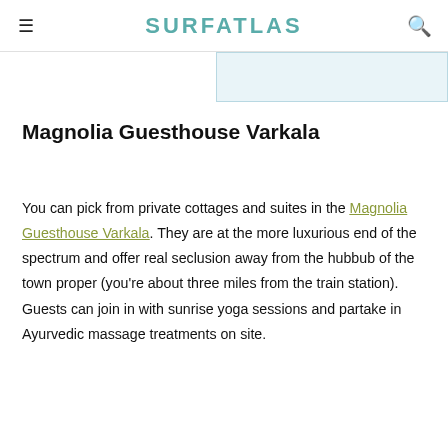≡  SURFATLAS  🔍
[Figure (screenshot): Partial light blue advertisement/widget strip visible at top right]
Magnolia Guesthouse Varkala
You can pick from private cottages and suites in the Magnolia Guesthouse Varkala. They are at the more luxurious end of the spectrum and offer real seclusion away from the hubbub of the town proper (you're about three miles from the train station). Guests can join in with sunrise yoga sessions and partake in Ayurvedic massage treatments on site.